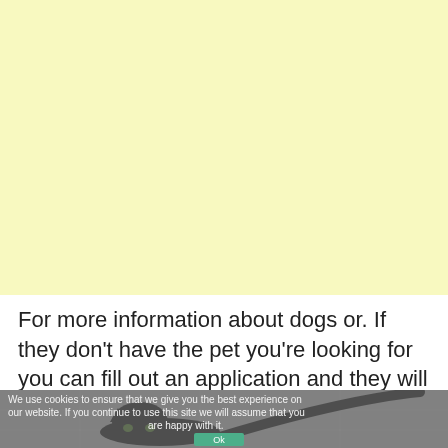[Figure (other): Large pale yellow blank area occupying the upper portion of the page, likely an advertisement placeholder.]
For more information about dogs or. If they don't have the pet you're looking for you can fill out an application and they will keep it on file.
[Figure (photo): Photo of a black cat on a tiled floor, partially overlaid with a cookie consent banner reading: 'We use cookies to ensure that we give you the best experience on our website. If you continue to use this site we will assume that you are happy with it.' with an OK button.]